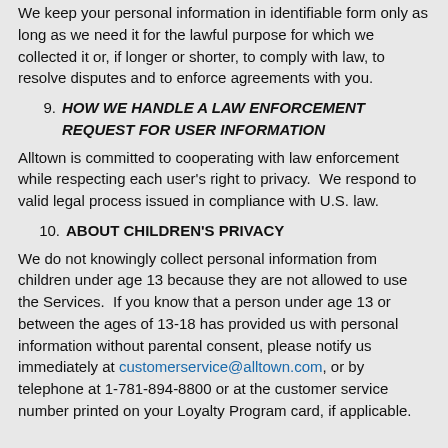We keep your personal information in identifiable form only as long as we need it for the lawful purpose for which we collected it or, if longer or shorter, to comply with law, to resolve disputes and to enforce agreements with you.
9. HOW WE HANDLE A LAW ENFORCEMENT REQUEST FOR USER INFORMATION
Alltown is committed to cooperating with law enforcement while respecting each user's right to privacy.  We respond to valid legal process issued in compliance with U.S. law.
10. ABOUT CHILDREN'S PRIVACY
We do not knowingly collect personal information from children under age 13 because they are not allowed to use the Services.  If you know that a person under age 13 or between the ages of 13-18 has provided us with personal information without parental consent, please notify us immediately at customerservice@alltown.com, or by telephone at 1-781-894-8800 or at the customer service number printed on your Loyalty Program card, if applicable.